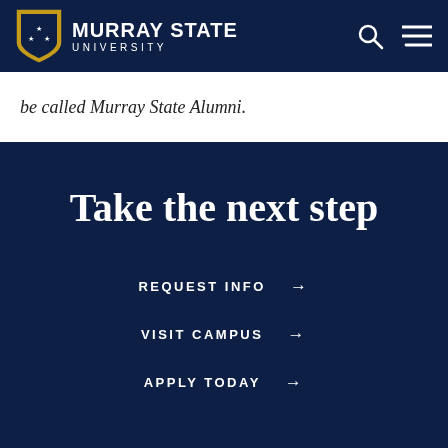MURRAY STATE UNIVERSITY
be called Murray State Alumni.
Take the next step
REQUEST INFO →
VISIT CAMPUS →
APPLY TODAY →